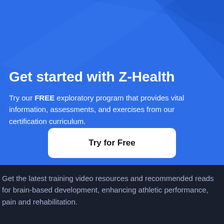[Figure (illustration): Blue background with diagonal darker blue geometric shapes in the upper portion]
Get started with Z-Health
Try our FREE exploratory program that provides vital information, assessments, and exercises from our certification curriculum.
Try for Free
Get the latest training video resources and recommended reads for brain-based development, enhancing athletic performance, pain and rehabilitation.